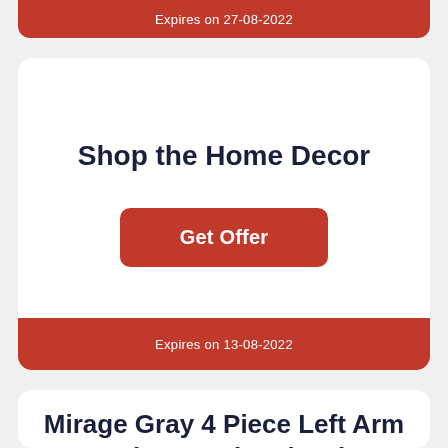Expires on 27-08-2022
Shop the Home Decor
Get Offer
Expires on 13-08-2022
Mirage Gray 4 Piece Left Arm Facing Sectional Only